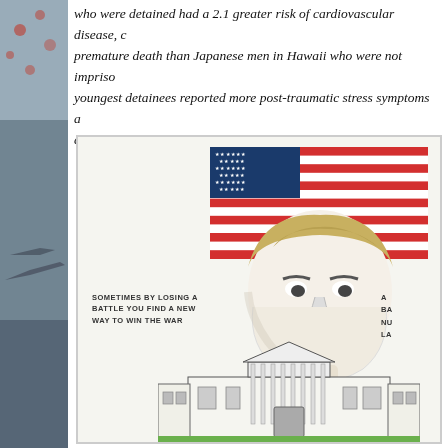who were detained had a 2.1 greater risk of cardiovascular disease, c premature death than Japanese men in Hawaii who were not impriso youngest detainees reported more post-traumatic stress symptoms a disturbing flashback experiences.]
[Figure (illustration): A coloring book or print illustration showing a stylized portrait of a political figure in front of an American flag on a pole, with a drawing of the White House at the bottom. Left side shows text: 'SOMETIMES BY LOSING A BATTLE YOU FIND A NEW WAY TO WIN THE WAR'. Right side shows partial text starting with 'A', 'BA', 'NU', 'LA'.]